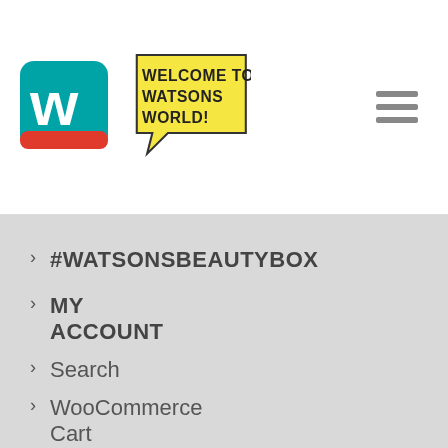[Figure (logo): Watsons logo with teal W icon and yellow speech bubble saying 'Welcome to Watsons World!']
> #WATSONSBEAUTYBOX
> MY ACCOUNT
> Search
> WooCommerce Cart